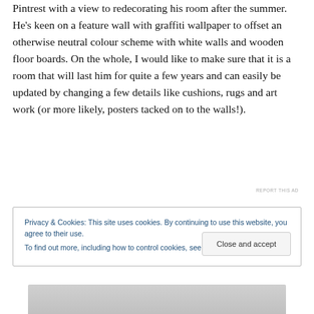Pintrest with a view to redecorating his room after the summer. He's keen on a feature wall with graffiti wallpaper to offset an otherwise neutral colour scheme with white walls and wooden floor boards. On the whole, I would like to make sure that it is a room that will last him for quite a few years and can easily be updated by changing a few details like cushions, rugs and art work (or more likely, posters tacked on to the walls!).
REPORT THIS AD
Privacy & Cookies: This site uses cookies. By continuing to use this website, you agree to their use.
To find out more, including how to control cookies, see here: Cookie Policy
Close and accept
[Figure (photo): Bottom portion of an image, partially visible at the bottom of the page]